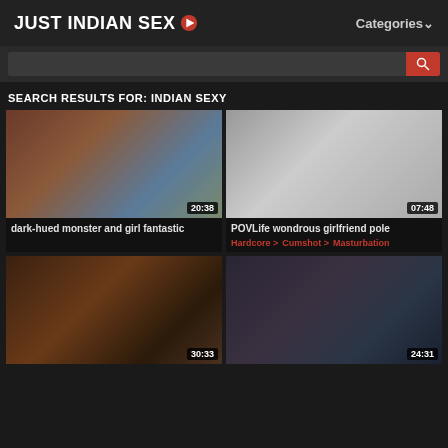JUST INDIAN SEX  Categories
SEARCH RESULTS FOR: INDIAN SEXY
[Figure (screenshot): Video thumbnail 1 with duration 20:38]
dark-hued monster and girl fantastic
[Figure (screenshot): Video thumbnail 2 with duration 07:48]
POVLife wondrous girlfriend pole
Hardcore > Cumshot > Masturbation
[Figure (screenshot): Video thumbnail 3 with duration 30:33]
[Figure (screenshot): Video thumbnail 4 with duration 24:31]